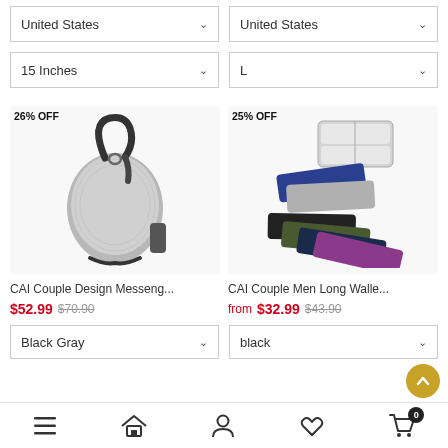[Figure (screenshot): Dropdown selector showing 'United States' with chevron (left column)]
[Figure (screenshot): Dropdown selector showing 'United States' with chevron (right column)]
[Figure (screenshot): Dropdown selector showing '15 Inches' with chevron (left column)]
[Figure (screenshot): Dropdown selector showing 'L' with chevron (right column)]
[Figure (photo): Gray sling/messenger bag with black strap, 26% OFF badge]
[Figure (photo): Colorful long wallets in multiple colors (black, navy, gray, olive, dark blue, purple) with open gray wallet on top, 25% OFF badge]
CAI Couple Design Messeng...
CAI Couple Men Long Walle...
$52.99  $70.90
from $32.99  $43.90
[Figure (screenshot): Dropdown selector showing 'Black Gray' with chevron]
[Figure (screenshot): Dropdown selector showing 'black' with chevron]